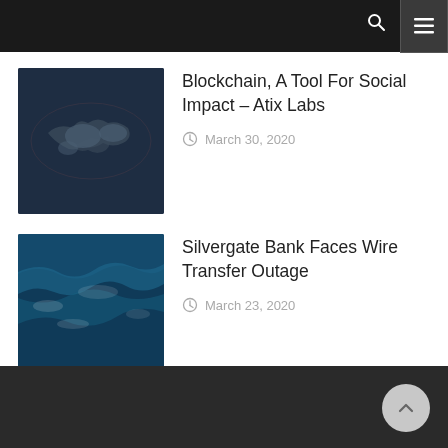Blockchain, A Tool For Social Impact – Atix Labs | March 30, 2020
Silvergate Bank Faces Wire Transfer Outage | March 23, 2020
The Post-Virus Economic Recovery Could Be a Green One – Bloomberg | March 23, 2020